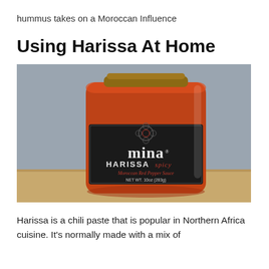hummus takes on a Moroccan Influence
Using Harissa At Home
[Figure (photo): A glass jar of Mina Harissa Spicy Moroccan Red Pepper Sauce (NET WT. 10oz / 283g) with a dark decorative label featuring a floral motif, sitting on a wooden surface against a grey background.]
Harissa is a chili paste that is popular in Northern Africa cuisine. It's normally made with a mix of